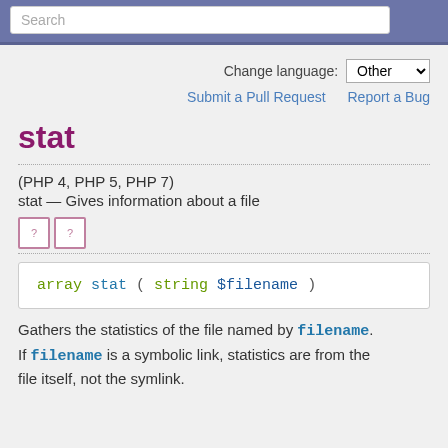Search
Change language: Other
Submit a Pull Request   Report a Bug
stat
(PHP 4, PHP 5, PHP 7)
stat — Gives information about a file
[Figure (other): Two small icon placeholders with question marks, bordered in pink/purple]
Gathers the statistics of the file named by filename. If filename is a symbolic link, statistics are from the file itself, not the symlink.